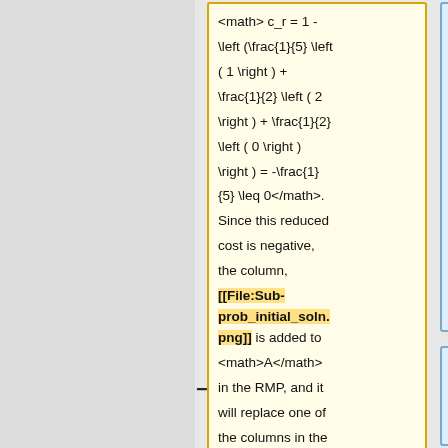<math> c_r = 1 - \left (\frac{1}{5} \left ( 1 \right ) + \frac{1}{2} \left ( 2 \right ) + \frac{1}{2} \left ( 0 \right ) \right ) = -\frac{1}{5} \leq 0</math>. Since this reduced cost is negative, the column, [[File:Sub-prob_initial_soln.png]] is added to <math>A</math> in the RMP, and it will replace one of the columns in the basis. After adding the column, <br/>
<math>\mathbf{a_p}=\begin{bmatrix} 1 & 2 & 0\end{bmatrix}^T</math> , with a reduced cost of
<math> c_r = 1 - \left (\frac{1}{5} \left ( 1 \right ) ...